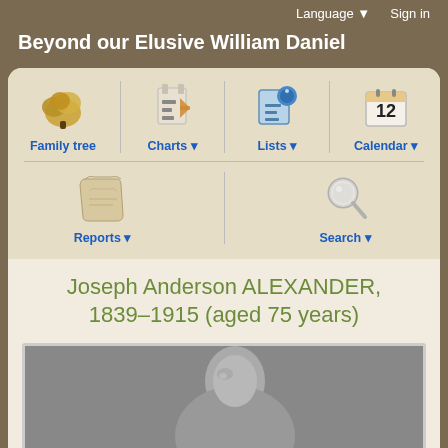Language ▼   Sign in
Beyond our Elusive William Daniel
[Figure (screenshot): Genealogy website navigation panel with icons for Family tree, Charts, Lists, Calendar, Reports, and Search]
Joseph Anderson ALEXANDER, 1839–1915 (aged 75 years)
[Figure (photo): Black and white photograph of an elderly person, partially visible]